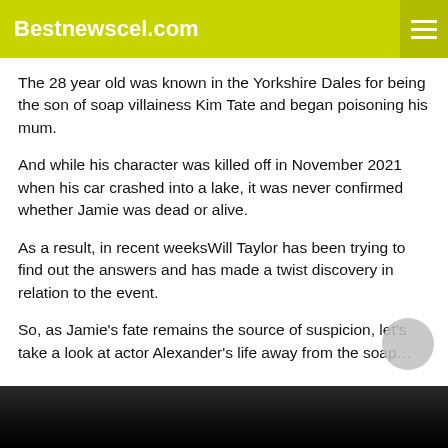Bestnewscel.com
The 28 year old was known in the Yorkshire Dales for being the son of soap villainess Kim Tate and began poisoning his mum.
And while his character was killed off in November 2021 when his car crashed into a lake, it was never confirmed whether Jamie was dead or alive.
As a result, in recent weeksWill Taylor has been trying to find out the answers and has made a twist discovery in relation to the event.
So, as Jamie's fate remains the source of suspicion, let's take a look at actor Alexander's life away from the soap…
[Figure (photo): Dark gradient image strip at the bottom of the page]